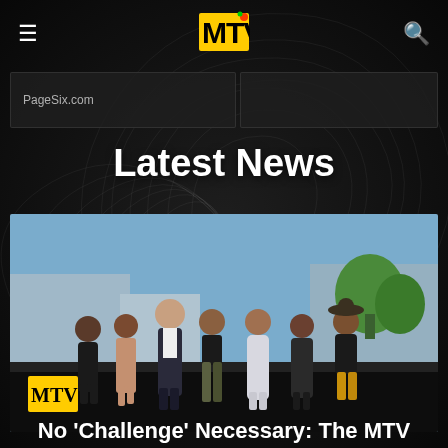MTV
PageSix.com
Latest News
[Figure (photo): Group of seven people posing together on a black carpet at what appears to be an MTV event, outdoors with trees and buildings in the background. From left: woman in black outfit, woman in pink dress, tall man in dark suit, woman in black top and camo pants, woman in silver/white sparkly dress, woman in black and white patterned dress, man in black jacket and hat with yellow/mustard pants.]
No 'Challenge' Necessary: The MTV